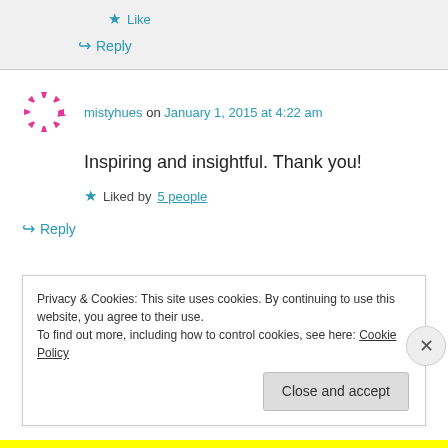Like
Reply
mistyhues on January 1, 2015 at 4:22 am
Inspiring and insightful. Thank you!
Liked by 5 people
Reply
Privacy & Cookies: This site uses cookies. By continuing to use this website, you agree to their use. To find out more, including how to control cookies, see here: Cookie Policy
Close and accept